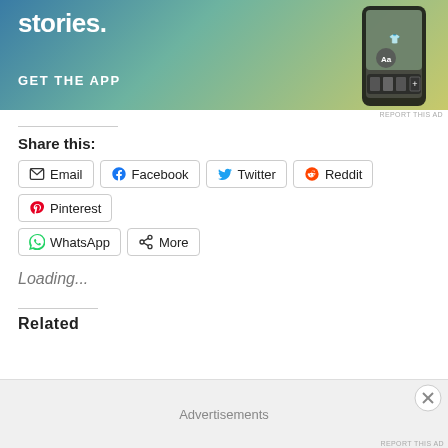[Figure (screenshot): App advertisement banner with gradient background (blue to yellow-green), white bold text 'stories.' at top, 'GET THE APP' call-to-action, and phone mockup on the right side.]
REPORT THIS AD
Share this:
Email
Facebook
Twitter
Reddit
Pinterest
WhatsApp
More
Loading...
Related
Advertisements